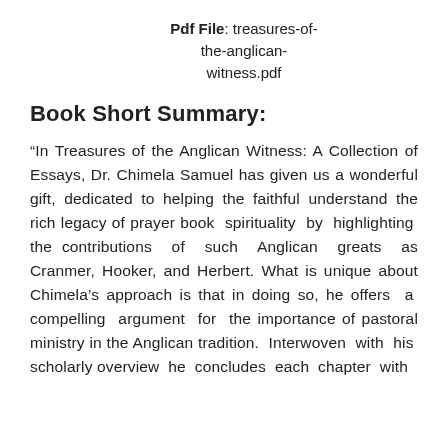Pdf File: treasures-of-the-anglican-witness.pdf
Book Short Summary:
“In Treasures of the Anglican Witness: A Collection of Essays, Dr. Chimela Samuel has given us a wonderful gift, dedicated to helping the faithful understand the rich legacy of prayer book spirituality by highlighting the contributions of such Anglican greats as Cranmer, Hooker, and Herbert. What is unique about Chimela’s approach is that in doing so, he offers a compelling argument for the importance of pastoral ministry in the Anglican tradition. Interwoven with his scholarly overview he concludes each chapter with